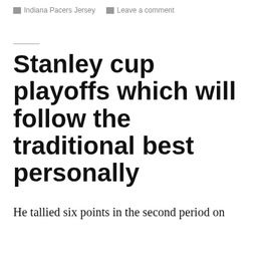Indiana Pacers Jersey  Leave a comment
Stanley cup playoffs which will follow the traditional best personally
He tallied six points in the second period on